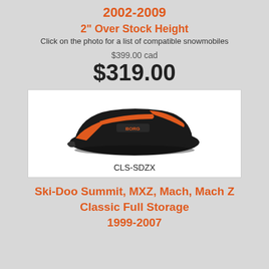2002-2009
2" Over Stock Height
Click on the photo for a list of compatible snowmobiles
$399.00 cad
$319.00
[Figure (photo): Snowmobile seat cover product photo, black and orange, with strap. Model code CLS-SDZX shown below.]
CLS-SDZX
Ski-Doo Summit, MXZ, Mach, Mach Z
Classic Full Storage
1999-2007